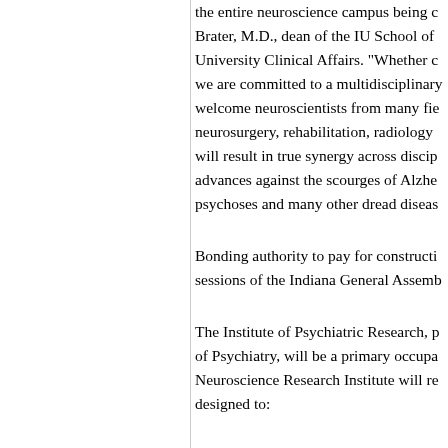the entire neuroscience campus being c... Brater, M.D., dean of the IU School of ... University Clinical Affairs. "Whether c... we are committed to a multidisciplinary... welcome neuroscientists from many fie... neurosurgery, rehabilitation, radiology ... will result in true synergy across discip... advances against the scourges of Alzhe... psychoses and many other dread diseas...
Bonding authority to pay for constructi... sessions of the Indiana General Assemb...
The Institute of Psychiatric Research, p... of Psychiatry, will be a primary occupa... Neuroscience Research Institute will re... designed to: